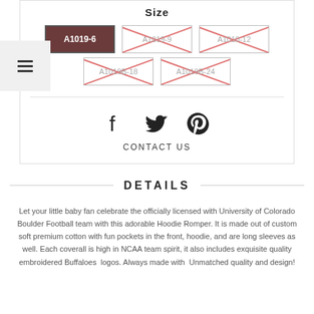Size
A1019-6 (selected), A1019-9 (unavailable), A1010-12 (unavailable), A1019B-18 (unavailable), A1019B-24 (unavailable)
CONTACT US
DETAILS
Let your little baby fan celebrate the officially licensed with University of Colorado Boulder Football team with this adorable Hoodie Romper. It is made out of custom soft premium cotton with fun pockets in the front, hoodie, and are long sleeves as well. Each coverall is high in NCAA team spirit, it also includes exquisite quality embroidered Buffaloes logos. Always made with Unmatched quality and design!